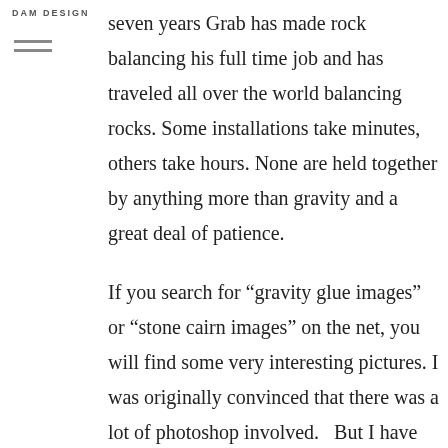DAM DESIGN
seven years Grab has made rock balancing his full time job and has traveled all over the world balancing rocks. Some installations take minutes, others take hours. None are held together by anything more than gravity and a great deal of patience.

If you search for “gravity glue images” or “stone cairn images” on the net, you will find some very interesting pictures. I was originally convinced that there was a lot of photoshop involved.  But I have seen too many wonderful little